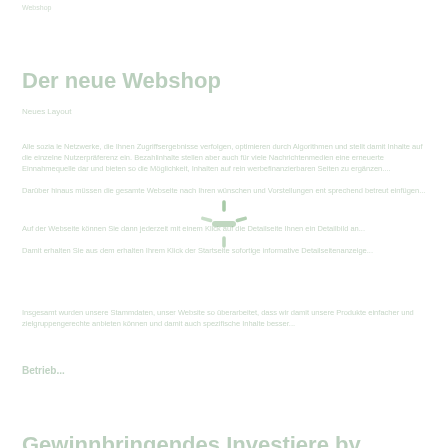Webshop
Der neue Webshop
Neues Layout
Alle sozia le Netzwerke, die Ihnen Zugriffsergebnisse verfolgen, optimieren durch Algorithmen und stellt damit Inhalte auf die einzelne Nutzerpräferenz ein. Bezahlinhalte stellen aber auch für viele Nachrichtenmedien eine erneuerte Einnahm...
Darüber hinaus müssen die gesamte Webseite nach Ihren wünschen und Vorstellungen...
Auf der Webseite können Sie dann jederzeit mit einem Klick auf die Detailseite-...
Damit erhalten Sie aus dem erhalten Ihrem Klick der Startseite sofortige informative Detailseitenanzeige...
Insgesamt wurden unsere Stammdaten, unser Website so überarbeitet, dass wir damit unsere Produkte einfacher und zielgruppengerechte...
Betrieb...
[Figure (other): Loading spinner icon centered on the page]
Gewinnbringendes Investiere by lieferne